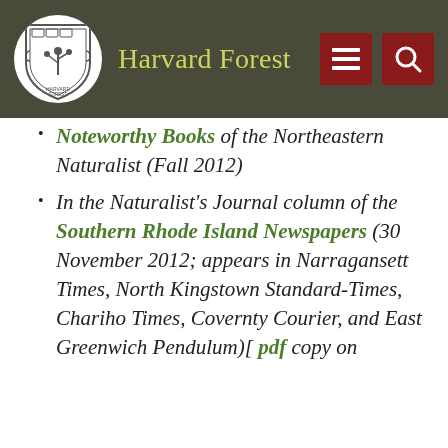Harvard Forest
Noteworthy Books of the Northeastern Naturalist (Fall 2012)
In the Naturalist's Journal column of the Southern Rhode Island Newspapers (30 November 2012; appears in Narragansett Times, North Kingstown Standard-Times, Chariho Times, Covernty Courier, and East Greenwich Pendulum)[ pdf copy on